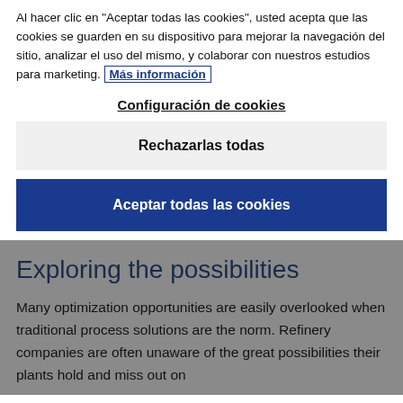Al hacer clic en "Aceptar todas las cookies", usted acepta que las cookies se guarden en su dispositivo para mejorar la navegación del sitio, analizar el uso del mismo, y colaborar con nuestros estudios para marketing. Más información
Configuración de cookies
Rechazarlas todas
Aceptar todas las cookies
Exploring the possibilities
Many optimization opportunities are easily overlooked when traditional process solutions are the norm. Refinery companies are often unaware of the great possibilities their plants hold and miss out on